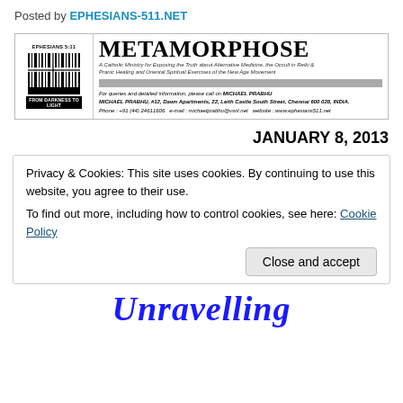Posted by EPHESIANS-511.NET
[Figure (logo): Metamorphose newsletter logo with barcode-style cross image on left labeled EPHESIANS 5:11 and FROM DARKNESS TO LIGHT, and title METAMORPHOSE with subtitle about Catholic Ministry for Exposing the Truth about Alternative Medicine, the Occult in Reiki & Pranic Healing and Oriental Spiritual Exercises of the New Age Movement, plus contact information for Michael Prabhu in Chennai, India.]
JANUARY 8, 2013
Privacy & Cookies: This site uses cookies. By continuing to use this website, you agree to their use.
To find out more, including how to control cookies, see here: Cookie Policy
Close and accept
Unravelling